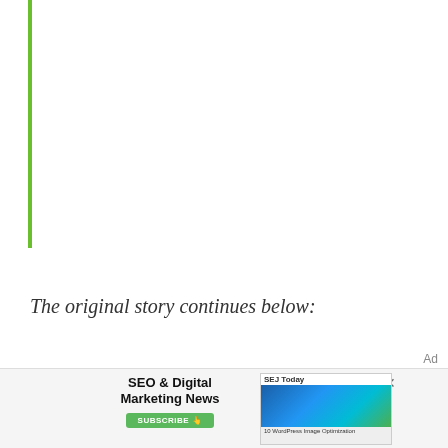[Figure (other): Vertical green line decorative element on left side of page]
The original story continues below:
Google is currently experiencing a bug that is preventing newly-published from being indexed.
Ad
[Figure (other): Advertisement banner for SEO & Digital Marketing News with SUBSCRIBE button and SEJ Today thumbnail]